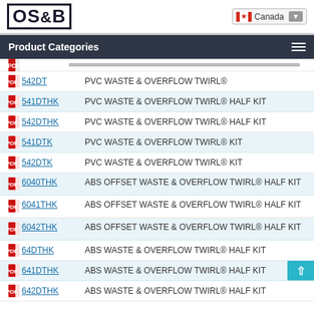OS&B — Canada
Product Categories
542DT — PVC WASTE & OVERFLOW TWIRL®
541DTHK — PVC WASTE & OVERFLOW TWIRL® HALF KIT
542DTHK — PVC WASTE & OVERFLOW TWIRL® HALF KIT
541DTK — PVC WASTE & OVERFLOW TWIRL® KIT
542DTK — PVC WASTE & OVERFLOW TWIRL® KIT
6040THK — ABS OFFSET WASTE & OVERFLOW TWIRL® HALF KIT
6041THK — ABS OFFSET WASTE & OVERFLOW TWIRL® HALF KIT
6042THK — ABS OFFSET WASTE & OVERFLOW TWIRL® HALF KIT
64DTHK — ABS WASTE & OVERFLOW TWIRL® HALF KIT
641DTHK — ABS WASTE & OVERFLOW TWIRL® HALF KIT
642DTHK — ABS WASTE & OVERFLOW TWIRL® HALF KIT